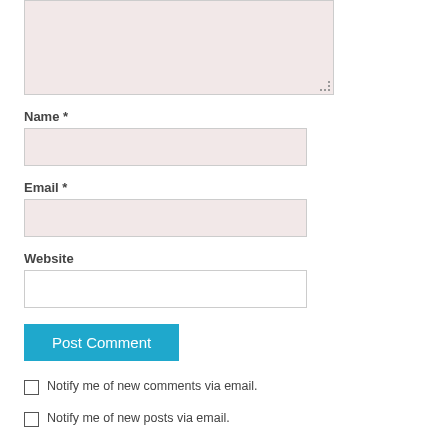[Figure (screenshot): A comment form showing a textarea (pink/rose background) at the top, followed by Name, Email, Website input fields, a Post Comment button, and two checkbox options for email notifications.]
Name *
Email *
Website
Post Comment
Notify me of new comments via email.
Notify me of new posts via email.